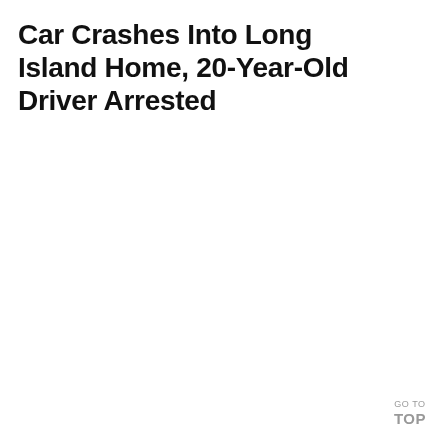Car Crashes Into Long Island Home, 20-Year-Old Driver Arrested
GO TO TOP